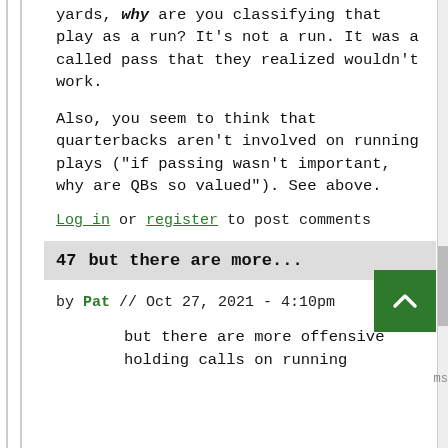yards, why are you classifying that play as a run? It's not a run. It was a called pass that they realized wouldn't work.

Also, you seem to think that quarterbacks aren't involved on running plays ("if passing wasn't important, why are QBs so valued"). See above.
Log in or register to post comments
47   but there are more...
by Pat // Oct 27, 2021 - 4:10pm
but there are more offensive holding calls on running